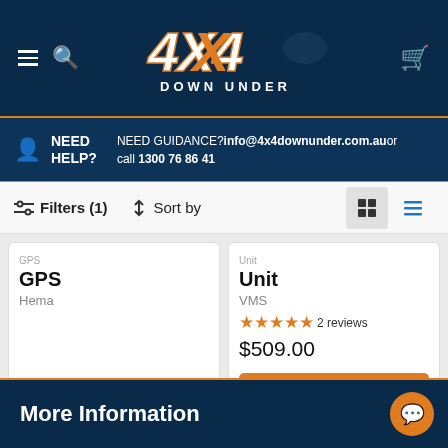[Figure (logo): 4X4 Down Under logo with orange text on dark navy background, featuring a 4x4 truck silhouette]
NEED HELP? NEED GUIDANCE? info@4x4downunder.com.au or call 1300 76 86 41
Filters (1)   Sort by
GPS
Hema
$749.00
Add to cart
Unit
VMS
★★★★★ 2 reviews
$509.00
Add to cart
More Information